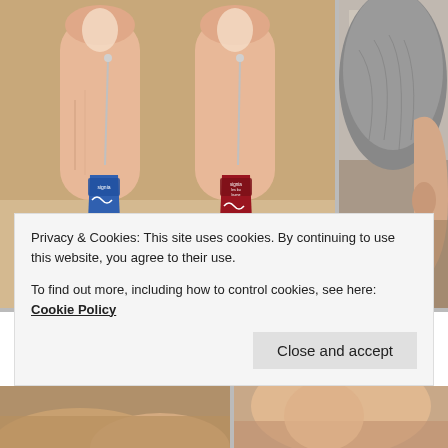[Figure (photo): Close-up photo of two hands each holding a tiny Signia hearing aid — one blue (left) and one red/burgundy (right) — held between thumb and forefinger with a thin wire/pin extending upward from each device.]
[Figure (photo): Partial photo on the right side showing the side of an elderly person's head/ear with gray hair, partially cropped.]
Privacy & Cookies: This site uses cookies. By continuing to use this website, you agree to their use.
To find out more, including how to control cookies, see here: Cookie Policy
[Figure (photo): Partial bottom-left photo, cropped — appears to show another hearing aid or related medical device scene.]
[Figure (photo): Partial bottom-right photo, cropped — appears to show a person's face or ear area.]